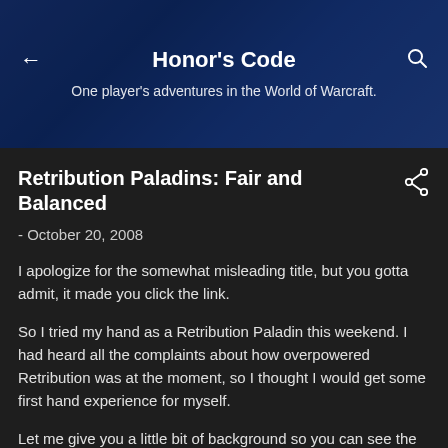Honor's Code
One player's adventures in the World of Warcraft.
Retribution Paladins: Fair and Balanced
- October 20, 2008
I apologize for the somewhat misleading title, but you gotta admit, it made you click the link.
So I tried my hand as a Retribution Paladin this weekend. I had heard all the complaints about how overpowered Retribution was at the moment, so I thought I would get some first hand experience for myself.
Let me give you a little bit of background so you can see the world through my eyes.